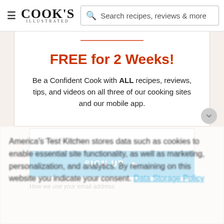Cook's Illustrated — Search recipes, reviews & more
FREE for 2 Weeks!
Be a Confident Cook with ALL recipes, reviews, tips, and videos on all three of our cooking sites and our mobile app.
Email Address
SIGN UP ►
How we use your email address
America's Test Kitchen stores data such as cookies to enable essential site functionality, as well as marketing, personalization, and analytics. By remaining on this website you indicate your consent. Data Storage Policy